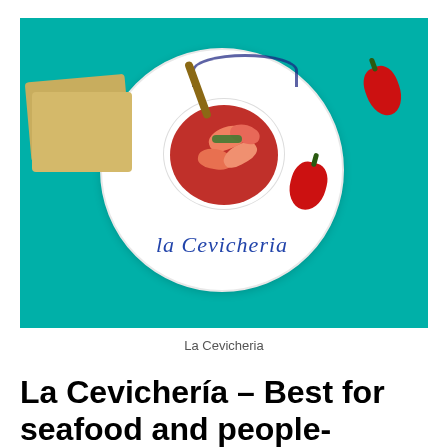[Figure (photo): A white plate with blue script reading 'La Cevicheria' on a teal background. On the plate: a white bowl of shrimp in red sauce with a spoon, crackers on the left side, and red peppers on the plate and beside it.]
La Cevicheria
La Cevichería – Best for seafood and people-watching from the plaza